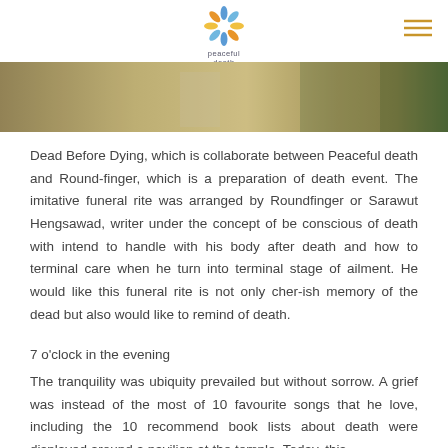peaceful death
[Figure (photo): Partial view of a room or space, muted warm tones, appears to be an interior setting]
Dead Before Dying, which is collaborate between Peaceful death and Round-finger, which is a preparation of death event. The imitative funeral rite was arranged by Roundfinger or Sarawut Hengsawad, writer under the concept of be conscious of death with intend to handle with his body after death and how to terminal care when he turn into terminal stage of ailment. He would like this funeral rite is not only cher-ish memory of the dead but also would like to remind of death.
7 o'clock in the evening
The tranquility was ubiquity prevailed but without sorrow. A grief was instead of the most of 10 favourite songs that he love, including the 10 recommend book lists about death were displayed around a pavilion at the temple. Today, this